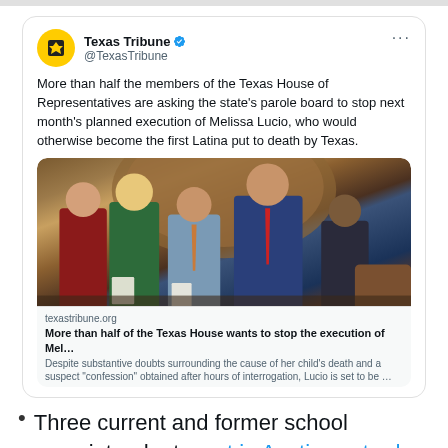[Figure (screenshot): Embedded tweet from Texas Tribune (@TexasTribune) with text: 'More than half the members of the Texas House of Representatives are asking the state's parole board to stop next month's planned execution of Melissa Lucio, who would otherwise become the first Latina put to death by Texas.' Includes a photo of several people standing in what appears to be a government chamber, and a link preview to texastribune.org article about stopping the execution of Mel... with description about substantive doubts surrounding cause of child's death and a suspect 'confession' obtained after hours of interrogation.]
Three current and former school superintendents met in Austin yesterday to talk about Critical Race Theory among other things. They were all in agreement: You've been conned.